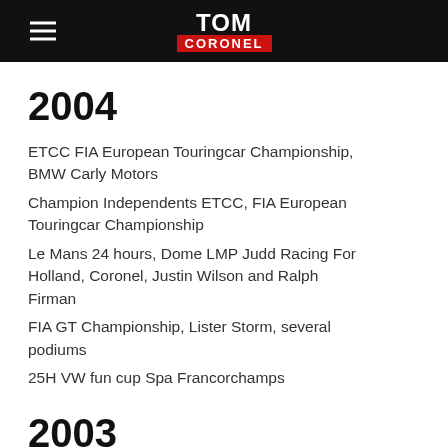TOM CORONEL
2004
ETCC FIA European Touringcar Championship, BMW Carly Motors
Champion Independents ETCC, FIA European Touringcar Championship
Le Mans 24 hours, Dome LMP Judd Racing For Holland, Coronel, Justin Wilson and Ralph Firman
FIA GT Championship, Lister Storm, several podiums
25H VW fun cup Spa Francorchamps
2003
ETCC FIA European Touringcar Championship,